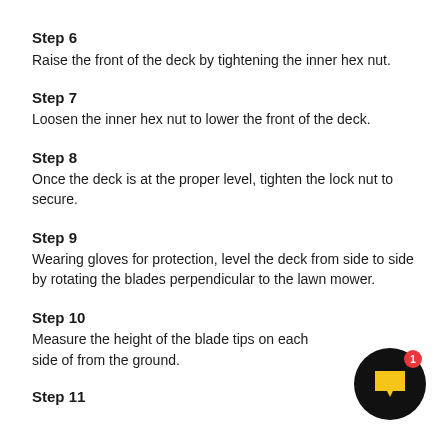Step 6
Raise the front of the deck by tightening the inner hex nut.
Step 7
Loosen the inner hex nut to lower the front of the deck.
Step 8
Once the deck is at the proper level, tighten the lock nut to secure.
Step 9
Wearing gloves for protection, level the deck from side to side by rotating the blades perpendicular to the lawn mower.
Step 10
Measure the height of the blade tips on each side of from the ground.
[Figure (illustration): Black circular notification icon with a yellow chat/flag symbol and a red badge showing the number 1]
Step 11